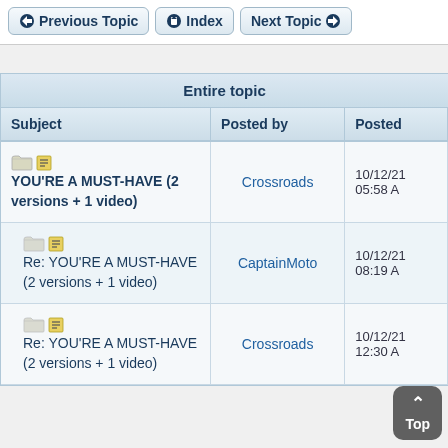Previous Topic | Index | Next Topic
| Subject | Posted by | Posted |
| --- | --- | --- |
| YOU'RE A MUST-HAVE (2 versions + 1 video) | Crossroads | 10/12/21  05:58 A |
| Re: YOU'RE A MUST-HAVE (2 versions + 1 video) | CaptainMoto | 10/12/21  08:19 A |
| Re: YOU'RE A MUST-HAVE (2 versions + 1 video) | Crossroads | 10/12/21  12:30 A |